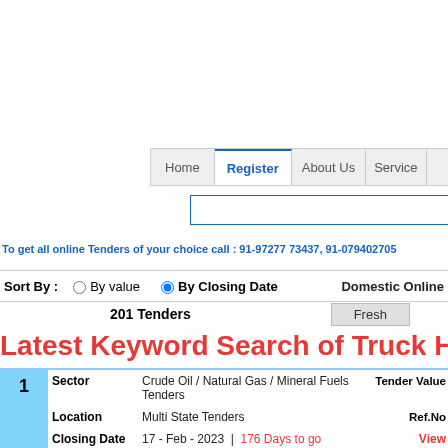Home | Register | About Us | Services
To get all online Tenders of your choice call : 91-97277 73437, 91-079402705
Sort By :   By value   By Closing Date   Domestic Online
201 Tenders   Fresh
Latest Keyword Search of Truck Hiring
| # | Field | Value | Right |
| --- | --- | --- | --- |
| 1 | Sector | Crude Oil / Natural Gas / Mineral Fuels Tenders | Tender Value |
|  | Location | Multi State Tenders | Ref.No |
|  | Closing Date | 17 - Feb - 2023  |  176 Days to go | View |
|  | Description | Tender for hiring of vehicle for mbpt p/l patrolling & gonral hire at Tender... |  |